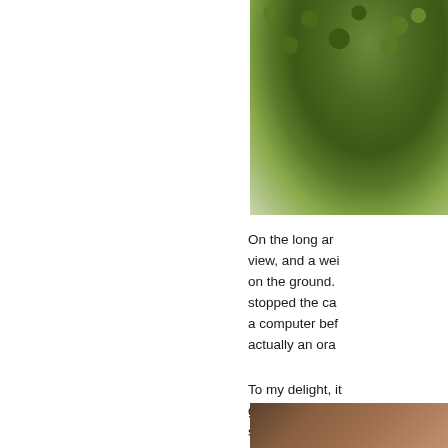[Figure (photo): Close-up photo of a green bumpy fruit (appears to be a sugar apple or custard apple) on a light background, cropped in the upper right corner of the page.]
On the long ar... view, and a wei... on the ground. stopped the ca... a computer bef... actually an ora...
To my delight, it... giant ground sl... smells lovely, a...
[Figure (photo): Partial photo visible at the bottom right corner of the page, showing warm brown tones.]